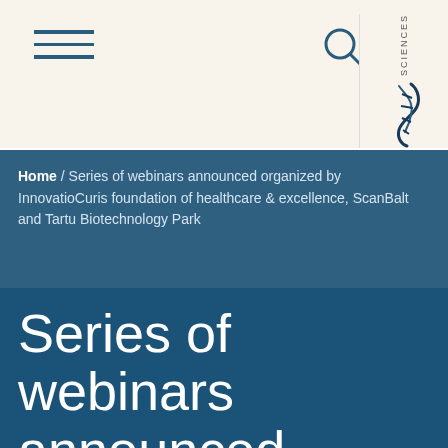[Figure (logo): Navigation header bar with hamburger menu icon, search icon, and Sciences logo with DNA-like graphic on the right]
Home / Series of webinars announced organized by InnovatioCuris foundation of healthcare & excellence, ScanBalt and Tartu Biotechnology Park
Series of webinars announced organized by InnovatioCuris foundation of healthcare &